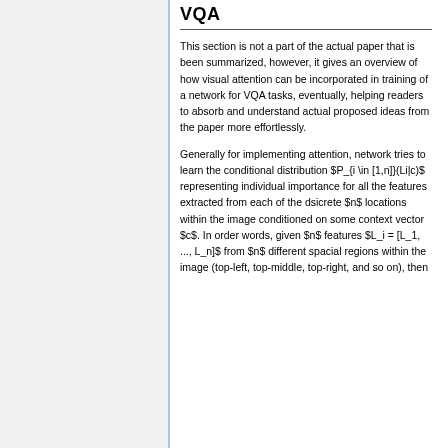VQA
This section is not a part of the actual paper that is been summarized, however, it gives an overview of how visual attention can be incorporated in training of a network for VQA tasks, eventually, helping readers to absorb and understand actual proposed ideas from the paper more effortlessly.
Generally for implementing attention, network tries to learn the conditional distribution $P_{i \in [1,n]}(Li|c)$ representing individual importance for all the features extracted from each of the dsicrete $n$ locations within the image conditioned on some context vector $c$. In order words, given $n$ features $L_i = [L_1, ..., L_n]$ from $n$ different spacial regions within the image (top-left, top-middle, top-right, and so on), then